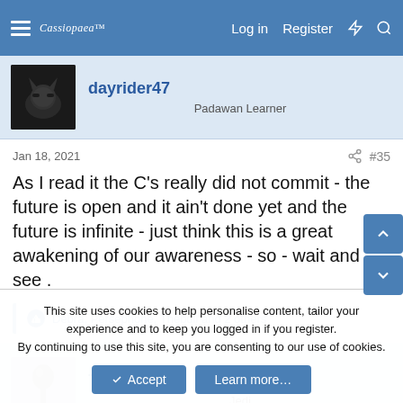Cassiopaea Log in Register
[Figure (photo): Batman avatar for user dayrider47]
dayrider47
Padawan Learner
Jan 18, 2021  #35
As I read it the C's really did not commit - the future is open and it ain't done yet and the future is infinite - just think this is a great awakening of our awareness - so - wait and see .
Debra, Persephone, Thebull and 2 others
[Figure (photo): Spoon avatar for user TheSpoon]
TheSpoon
Jedi
This site uses cookies to help personalise content, tailor your experience and to keep you logged in if you register.
By continuing to use this site, you are consenting to our use of cookies.
✓ Accept   Learn more…